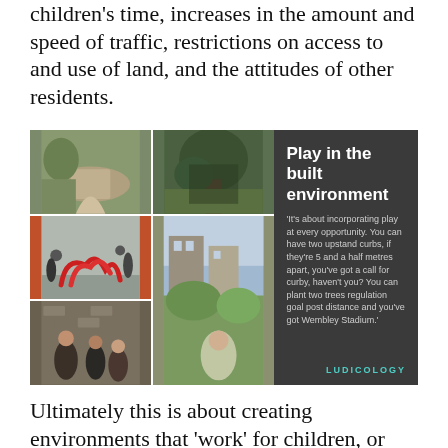children's time, increases in the amount and speed of traffic, restrictions on access to and use of land, and the attitudes of other residents.
[Figure (photo): Collage of six photographs showing various play environments in the built environment — outdoor natural areas, red sculptural play equipment, housing estate green space, children building with bricks, and a child in motion. Dark right panel reads 'Play in the built environment' with a quote about incorporating play at every opportunity, attributed to Ludicology.]
Ultimately this is about creating environments that 'work' for children, or rather that children can 'work', where they are able to navigate themselves to the resources on offer and make